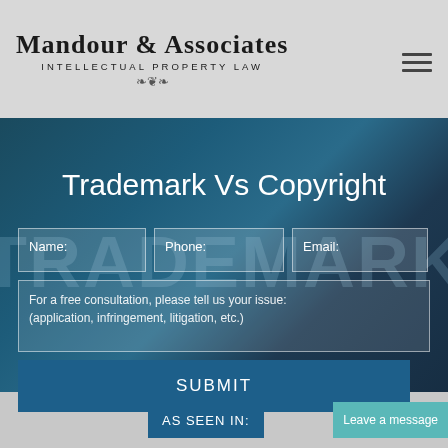[Figure (logo): Mandour & Associates Intellectual Property Law logo with firm name in serif font and decorative ornament]
[Figure (photo): Dark blue-teal hero image with gear and trademark letter overlays in background]
Trademark Vs Copyright
Name:
Phone:
Email:
For a free consultation, please tell us your issue: (application, infringement, litigation, etc.)
SUBMIT
AS SEEN IN:
Leave a message